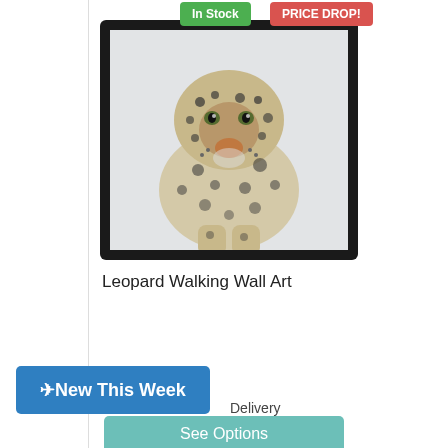[Figure (photo): Framed wall art showing a leopard walking toward the viewer, with black frame on light background. Two badges overlaid: green 'In Stock' and red 'PRICE DROP!']
Leopard Walking Wall Art
New This Week
Delivery
See Options